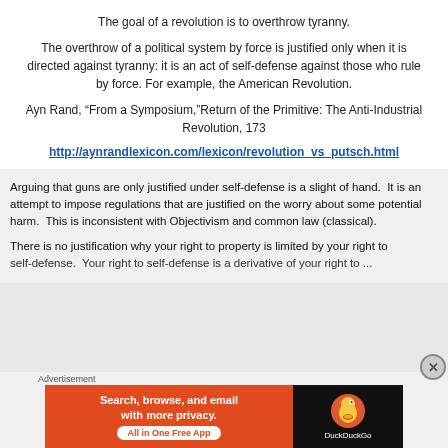The goal of a revolution is to overthrow tyranny.
The overthrow of a political system by force is justified only when it is directed against tyranny: it is an act of self-defense against those who rule by force. For example, the American Revolution.
Ayn Rand, “From a Symposium,”Return of the Primitive: The Anti-Industrial Revolution, 173
http://aynrandlexicon.com/lexicon/revolution_vs_putsch.html
Arguing that guns are only justified under self-defense is a slight of hand. It is an attempt to impose regulations that are justified on the worry about some potential harm. This is inconsistent with Objectivism and common law (classical).
There is no justification why your right to property is limited by your right to self-defense. Your right to self-defense is a derivative of your right to ...
Advertisement